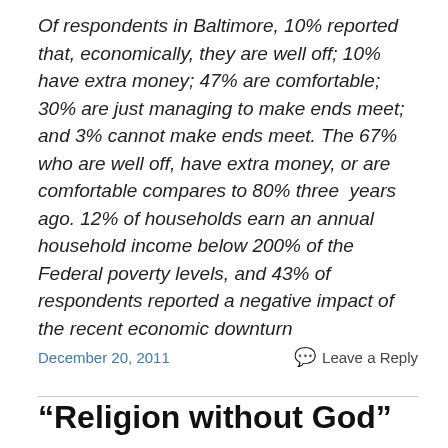Of respondents in Baltimore, 10% reported that, economically, they are well off; 10% have extra money; 47% are comfortable; 30% are just managing to make ends meet; and 3% cannot make ends meet. The 67% who are well off, have extra money, or are comfortable compares to 80% three years ago. 12% of households earn an annual household income below 200% of the Federal poverty levels, and 43% of respondents reported a negative impact of the recent economic downturn
December 20, 2011
Leave a Reply
“Religion without God” – Dworkin’s Einstein Lectures